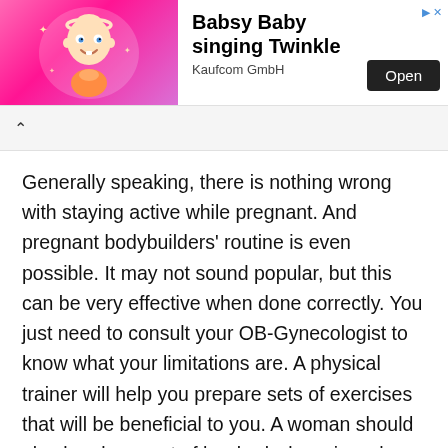[Figure (illustration): Mobile app advertisement banner showing an animated baby character on a pink sparkly background. Text reads 'Babsy Baby singing Twinkle' with 'Kaufcom GmbH' and an 'Open' button.]
Generally speaking, there is nothing wrong with staying active while pregnant. And pregnant bodybuilders' routine is even possible. It may not sound popular, but this can be very effective when done correctly. You just need to consult your OB-Gynecologist to know what your limitations are. A physical trainer will help you prepare sets of exercises that will be beneficial to you. A woman should also be observant of her body, knowing when to stop or mellow down a bit.